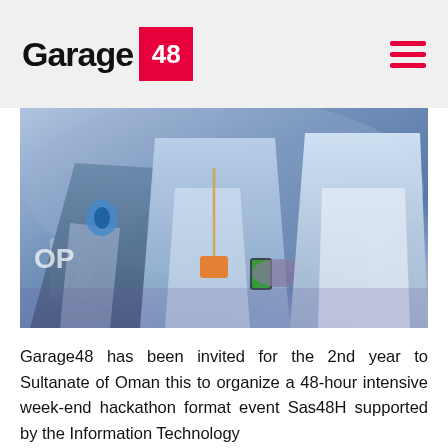Garage 48
[Figure (photo): Two people shaking hands at an event, wearing white shirts, with chairs in the background in a blue-toned venue]
Garage48 has been invited for the 2nd year to Sultanate of Oman this to organize a 48-hour intensive week-end hackathon format event Sas48H supported by the Information Technology